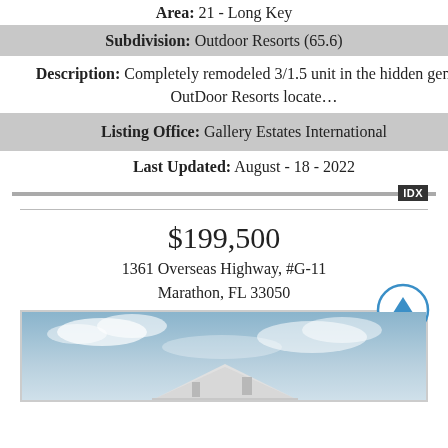Area: 21 - Long Key
Subdivision: Outdoor Resorts (65.6)
Description: Completely remodeled 3/1.5 unit in the hidden gem of OutDoor Resorts locate...
Listing Office: Gallery Estates International
Last Updated: August - 18 - 2022
IDX
$199,500
1361 Overseas Highway, #G-11
Marathon, FL 33050
[Figure (photo): Exterior photo of a building under a blue cloudy sky, showing rooftop.]